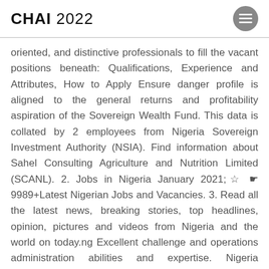CHAI 2022
oriented, and distinctive professionals to fill the vacant positions beneath: Qualifications, Experience and Attributes, How to Apply Ensure danger profile is aligned to the general returns and profitability aspiration of the Sovereign Wealth Fund. This data is collated by 2 employees from Nigeria Sovereign Investment Authority (NSIA). Find information about Sahel Consulting Agriculture and Nutrition Limited (SCANL). 2. Jobs in Nigeria January 2021;☆☛ 9989+Latest Nigerian Jobs and Vacancies. 3. Read all the latest news, breaking stories, top headlines, opinion, pictures and videos from Nigeria and the world on today.ng Excellent challenge and operations administration abilities and expertise. Nigeria Sovereign Investment Authority (NSIA), Your contribution will make us serve you better, This will help us if we need further clarification or we need to get back to you on the…NSIA has a vacancy…IR…vacancy…lt 10…